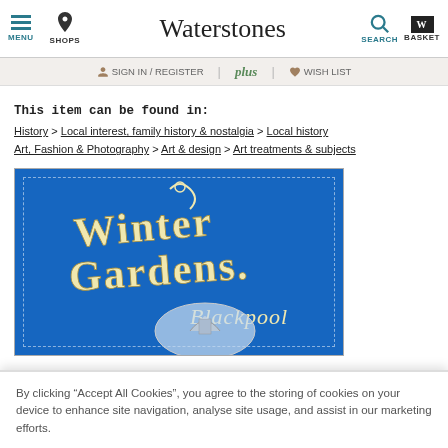MENU | SHOPS | Waterstones | SEARCH | BASKET
SIGN IN / REGISTER | plus | WISH LIST
This item can be found in:
History > Local interest, family history & nostalgia > Local history
Art, Fashion & Photography > Art & design > Art treatments & subjects
[Figure (photo): Book cover of 'Winter Gardens, Blackpool' — ornate Victorian lettering in gold/cream on a bright blue background, with a domed tower building visible in a circular vignette at the bottom centre.]
By clicking “Accept All Cookies”, you agree to the storing of cookies on your device to enhance site navigation, analyse site usage, and assist in our marketing efforts.